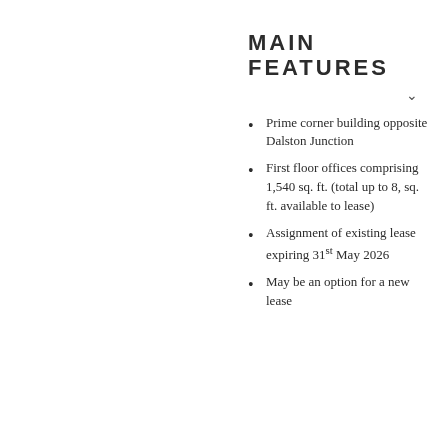MAIN FEATURES
Prime corner building opposite Dalston Junction
First floor offices comprising 1,540 sq. ft. (total up to 8, sq. ft. available to lease)
Assignment of existing lease expiring 31st May 2026
May be an option for a new lease